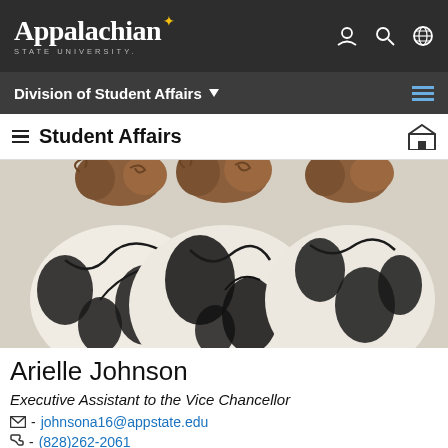Appalachian STATE UNIVERSITY — Division of Student Affairs
≡ Student Affairs
[Figure (photo): Profile photo of Arielle Johnson wearing a white blouse with black floral pattern; curly hair visible.]
Arielle Johnson
Executive Assistant to the Vice Chancellor
✉ - johnsona16@appstate.edu
☎ - (828)262-2061